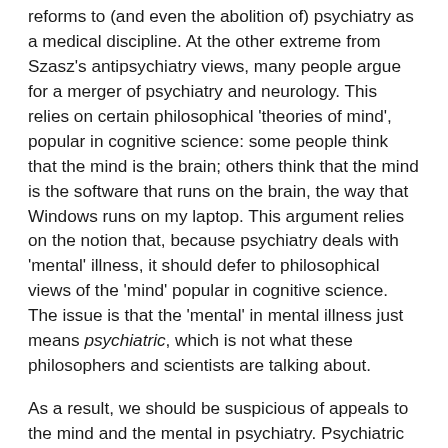reforms to (and even the abolition of) psychiatry as a medical discipline. At the other extreme from Szasz's antipsychiatry views, many people argue for a merger of psychiatry and neurology. This relies on certain philosophical 'theories of mind', popular in cognitive science: some people think that the mind is the brain; others think that the mind is the software that runs on the brain, the way that Windows runs on my laptop. This argument relies on the notion that, because psychiatry deals with 'mental' illness, it should defer to philosophical views of the 'mind' popular in cognitive science. The issue is that the 'mental' in mental illness just means psychiatric, which is not what these philosophers and scientists are talking about.
As a result, we should be suspicious of appeals to the mind and the mental in psychiatry. Psychiatric patients certainly don't need the burden of any extra stigma, and understanding psychiatric conditions is difficult enough without the constant risk of conflation and miscommunication. Without a reason to